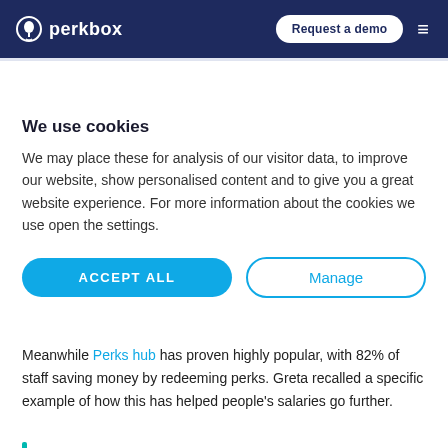perkbox | Request a demo
[Figure (other): Teal vertical accent bar]
We use cookies
We may place these for analysis of our visitor data, to improve our website, show personalised content and to give you a great website experience. For more information about the cookies we use open the settings.
ACCEPT ALL | Manage
Meanwhile Perks hub has proven highly popular, with 82% of staff saving money by redeeming perks. Greta recalled a specific example of how this has helped people's salaries go further.